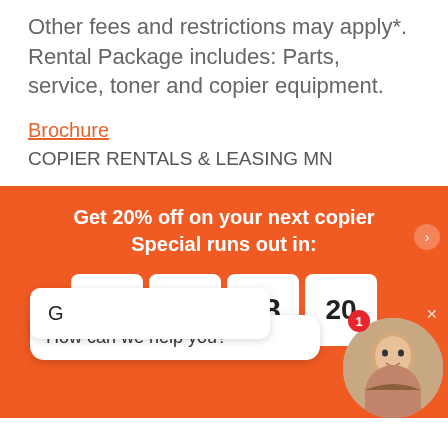Other fees and restrictions may apply*. Rental Package includes: Parts, service, toner and copier equipment.
Brochure
COPIER RENTALS & LEASING MN
Get 20% off on your next copier Special runs out in:
[Figure (other): Countdown timer showing 05 : 00 : 48 : 20 on orange background]
[Figure (other): Chat widget with 'How can we help you?' speech bubble and customer service avatar with badge showing 1]